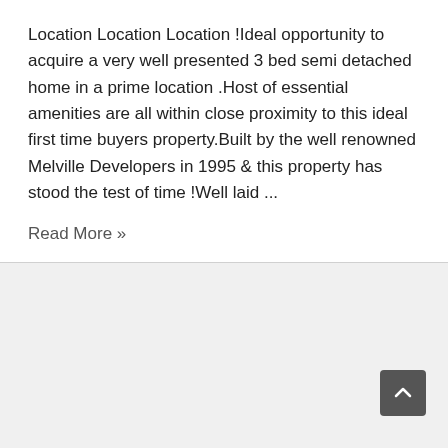Location Location Location !Ideal opportunity to acquire a very well presented 3 bed semi detached home in a prime location .Host of essential amenities are all within close proximity to this ideal first time buyers property.Built by the well renowned Melville Developers in 1995 & this property has stood the test of time !Well laid ...
Read More »